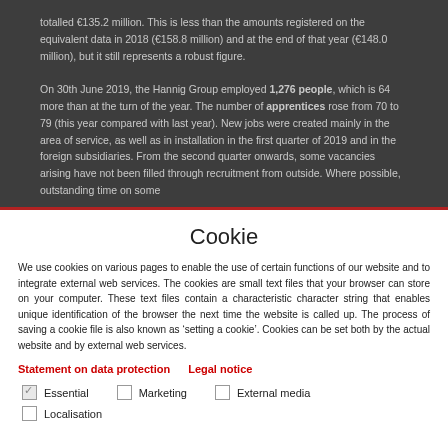totalled €135.2 million. This is less than the amounts registered on the equivalent data in 2018 (€158.8 million) and at the end of that year (€148.0 million), but it still represents a robust figure.

On 30th June 2019, the Hannig Group employed 1,276 people, which is 64 more than at the turn of the year. The number of apprentices rose from 70 to 79 (this year compared with last year). New jobs were created mainly in the area of service, as well as in installation in the first quarter of 2019 and in the foreign subsidiaries. From the second quarter onwards, some vacancies arising have not been filled through recruitment from outside. Where possible, outstanding time on some
Cookie
We use cookies on various pages to enable the use of certain functions of our website and to integrate external web services. The cookies are small text files that your browser can store on your computer. These text files contain a characteristic character string that enables unique identification of the browser the next time the website is called up. The process of saving a cookie file is also known as 'setting a cookie'. Cookies can be set both by the actual website and by external web services.
Statement on data protection   Legal notice
Essential   Marketing   External media
Localisation